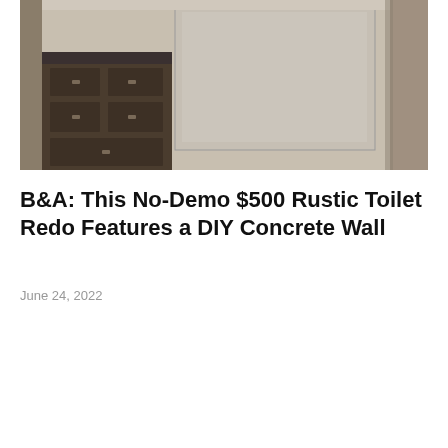[Figure (photo): Interior bathroom photo showing a dark wood vanity with cabinet drawers on the left, a large mirror, and beige/tan walls. The image appears to be a before photo of a bathroom renovation.]
B&A: This No-Demo $500 Rustic Toilet Redo Features a DIY Concrete Wall
June 24, 2022